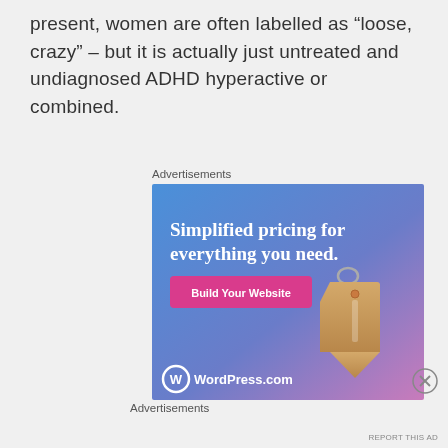present, women are often labelled as “loose, crazy” – but it is actually just untreated and undiagnosed ADHD hyperactive or combined.
Advertisements
[Figure (screenshot): WordPress.com advertisement banner with blue-purple gradient background, price tag graphic, text 'Simplified pricing for everything you need.' and a pink 'Build Your Website' button and WordPress.com logo at bottom left.]
Advertisements